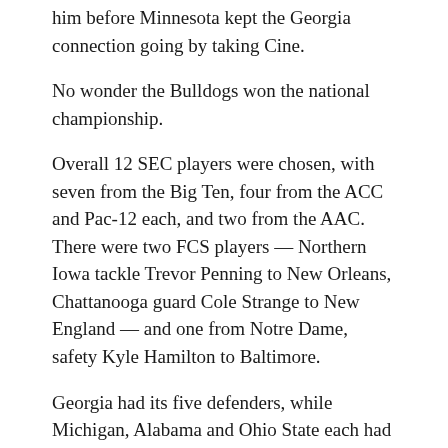him before Minnesota kept the Georgia connection going by taking Cine.
No wonder the Bulldogs won the national championship.
Overall 12 SEC players were chosen, with seven from the Big Ten, four from the ACC and Pac-12 each, and two from the AAC. There were two FCS players — Northern Iowa tackle Trevor Penning to New Orleans, Chattanooga guard Cole Strange to New England — and one from Notre Dame, safety Kyle Hamilton to Baltimore.
Georgia had its five defenders, while Michigan, Alabama and Ohio State each had two first-rounders.
More AP NFL: https://apnews.com/hub/nfl and https://apnews.com/hub/pro-32 and https://twitter.com/AP_NFL